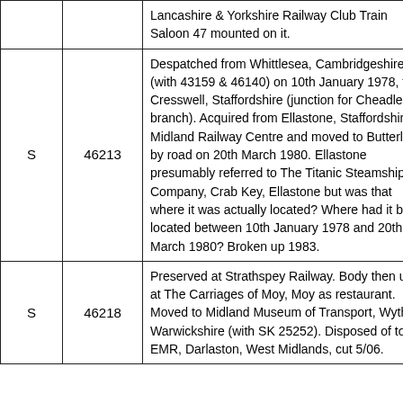|  |  | Description |
| --- | --- | --- |
|  |  | Lancashire & Yorkshire Railway Club Train Saloon 47 mounted on it. |
| S | 46213 | Despatched from Whittlesea, Cambridgeshire (with 43159 & 46140) on 10th January 1978, to Cresswell, Staffordshire (junction for Cheadle branch). Acquired from Ellastone, Staffordshire by Midland Railway Centre and moved to Butterley by road on 20th March 1980. Ellastone presumably referred to The Titanic Steamship Company, Crab Key, Ellastone but was that where it was actually located? Where had it been located between 10th January 1978 and 20th March 1980? Broken up 1983. |
| S | 46218 | Preserved at Strathspey Railway. Body then used at The Carriages of Moy, Moy as restaurant. Moved to Midland Museum of Transport, Wythall, Warwickshire (with SK 25252). Disposed of to EMR, Darlaston, West Midlands, cut 5/06. |